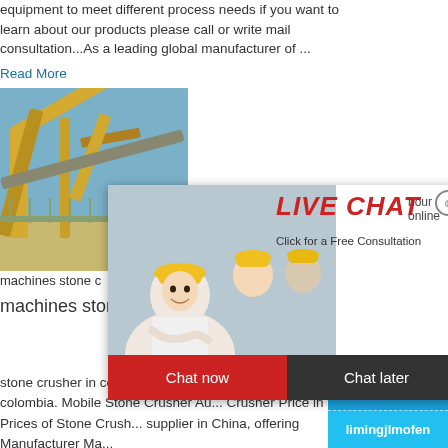equipment to meet different process needs if you want to learn about our products please call or write mail consultation...As a leading global manufacturer of ...
Read More
[Figure (photo): Industrial mining/crushing equipment machinery photo with yellow crane/conveyor structures]
machines stone c
machines stone crusher colombia
[Figure (screenshot): Live Chat popup overlay with smiling woman in hard hat and colleagues, red LIVE CHAT title, Chat now and Chat later buttons]
[Figure (photo): Right sidebar showing crusher machine on blue background with Click me to chat>> button, Enquiry section, and limingjlmofen branding]
stone crusher in colombia china machine q... crusher colombia. Mobile Stone Crusher Au... Crusher Price in UK, Prices of Stone Crush... supplier in China, offering Manufacturer Ma...